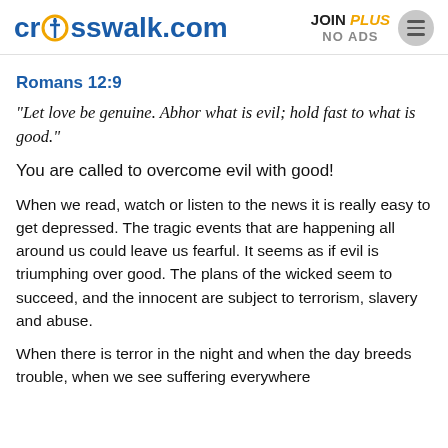crosswalk.com  JOIN PLUS NO ADS
Romans 12:9
“Let love be genuine. Abhor what is evil; hold fast to what is good.”
You are called to overcome evil with good!
When we read, watch or listen to the news it is really easy to get depressed. The tragic events that are happening all around us could leave us fearful. It seems as if evil is triumphing over good. The plans of the wicked seem to succeed, and the innocent are subject to terrorism, slavery and abuse.
When there is terror in the night and when the day breeds trouble, when we see suffering everywhere